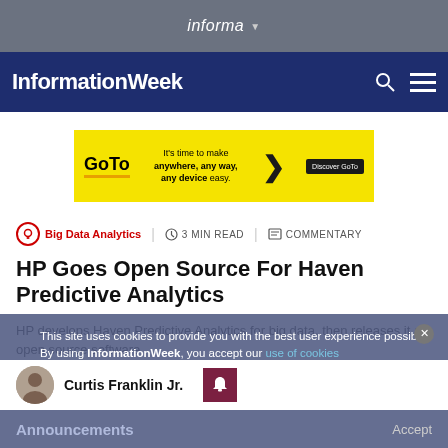informa
InformationWeek
[Figure (other): GoTo advertisement banner: yellow background with GoTo logo, text 'It's time to make anywhere, any way, any device easy.' with arrow and Discover GoTo button]
Big Data Analytics | 3 MIN READ | COMMENTARY
HP Goes Open Source For Haven Predictive Analytics
HP develops Haven Predictive Analytics for big data, then releases it as open source software.
This site uses cookies to provide you with the best user experience possible. By using InformationWeek, you accept our use of cookies
Curtis Franklin Jr.
Announcements